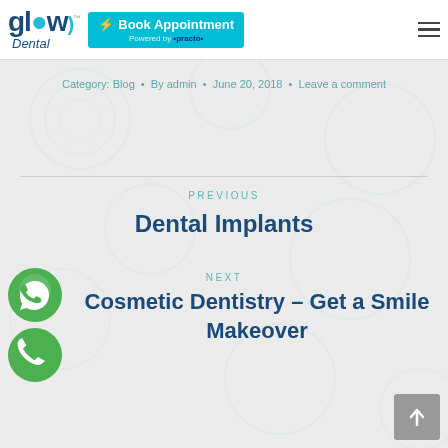Glow Dental - Book Appointment - Powered by Practo
Category: Blog • By admin • June 20, 2018 • Leave a comment
PREVIOUS
Dental Implants
NEXT
Cosmetic Dentistry – Get a Smile Makeover
[Figure (logo): Glow Dental logo with teal and navy text]
[Figure (other): WhatsApp contact button (green circle with WhatsApp icon)]
[Figure (other): Phone call button (green circle with phone icon)]
[Figure (other): Back to top button (grey square with upward arrow)]